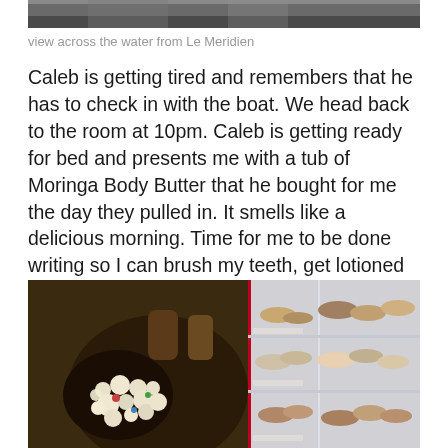[Figure (photo): Partial view of a photo showing water and a building, likely taken from Le Meridien hotel]
view across the water from Le Meridien
Caleb is getting tired and remembers that he has to check in with the boat. We head back to the room at 10pm. Caleb is getting ready for bed and presents me with a tub of Moringa Body Butter that he bought for me the day they pulled in. It smells like a delicious morning. Time for me to be done writing so I can brush my teeth, get lotioned up and go to sleep. We have another long day tomorrow.
[Figure (photo): Photo showing an ornate beaded/pearl-encrusted handbag in the foreground, with a shoe store shelving display in the background showing multiple pairs of shoes]